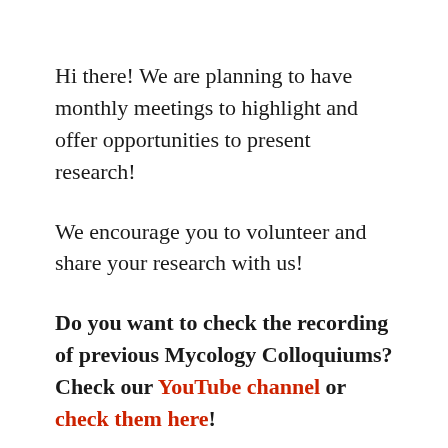Hi there! We are planning to have monthly meetings to highlight and offer opportunities to present research!
We encourage you to volunteer and share your research with us!
Do you want to check the recording of previous Mycology Colloquiums? Check our YouTube channel or check them here!
Submit an abstract, title and other info to the following Google Form and we will get in contact with you!